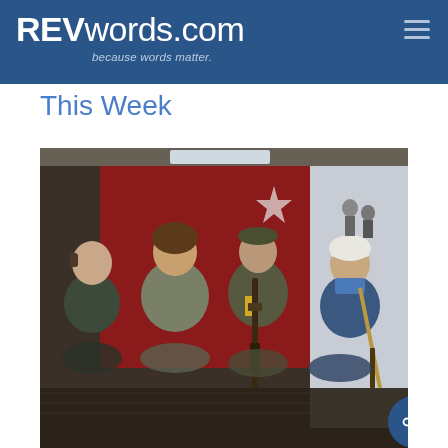REVwords.com — because words matter.
This Week
[Figure (photo): Four women armed with rifles sitting inside what appears to be a vehicle or shelter with a red backdrop. One woman holds a rifle. They are dressed in warm winter clothing.]